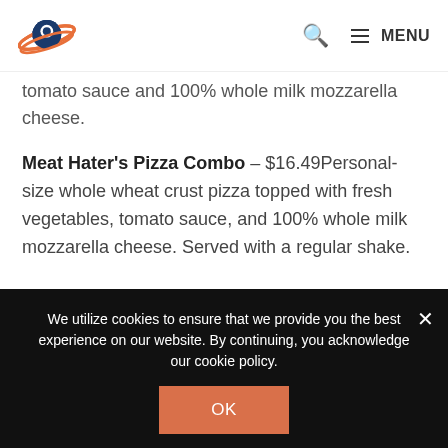Logo | Search | MENU
Cheese Pizza – $8.99Personal-size pizza topped with tomato sauce and 100% whole milk mozzarella cheese.
Meat Hater's Pizza Combo – $16.49Personal-size whole wheat crust pizza topped with fresh vegetables, tomato sauce, and 100% whole milk mozzarella cheese. Served with a regular shake.
Meat Hater's Pizza – $12.99Personal-size whole wheat crust pizza topped with fresh vegetables, tomato sauce, and 100% whole milk mozzarella cheese.
We utilize cookies to ensure that we provide you the best experience on our website. By continuing, you acknowledge our cookie policy.